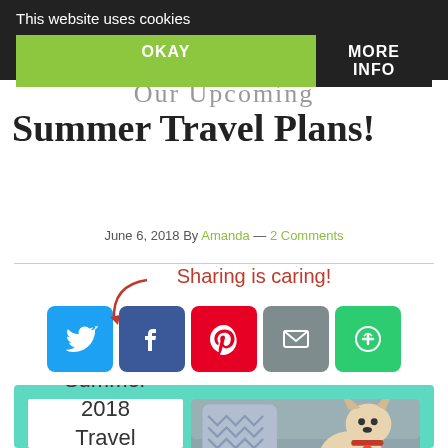This website uses cookies
OKAY
MORE INFO
Our Upcoming Summer Travel Plans!
June 6, 2018 By Amanda — 2 Comments
[Figure (infographic): Sharing is caring social media buttons: Twitter, Facebook, Pinterest, Email, More Options]
[Figure (photo): Blog post image card with teal background, left panel showing handwritten text 'Summer 2018 Travel Plans' and right panel showing a Chihuahua dog sitting on a couch with a chevron pillow]